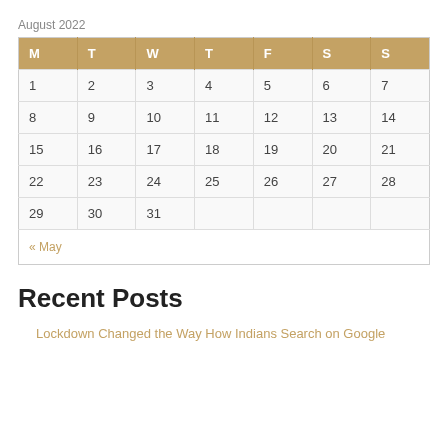August 2022
| M | T | W | T | F | S | S |
| --- | --- | --- | --- | --- | --- | --- |
| 1 | 2 | 3 | 4 | 5 | 6 | 7 |
| 8 | 9 | 10 | 11 | 12 | 13 | 14 |
| 15 | 16 | 17 | 18 | 19 | 20 | 21 |
| 22 | 23 | 24 | 25 | 26 | 27 | 28 |
| 29 | 30 | 31 |  |  |  |  |
| « May |  |  |  |  |  |  |
Recent Posts
Lockdown Changed the Way How Indians Search on Google